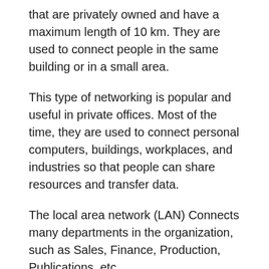that are privately owned and have a maximum length of 10 km. They are used to connect people in the same building or in a small area.
This type of networking is popular and useful in private offices. Most of the time, they are used to connect personal computers, buildings, workplaces, and industries so that people can share resources and transfer data.
The local area network (LAN) Connects many departments in the organization, such as Sales, Finance, Production, Publications, etc.
Features Of LAN